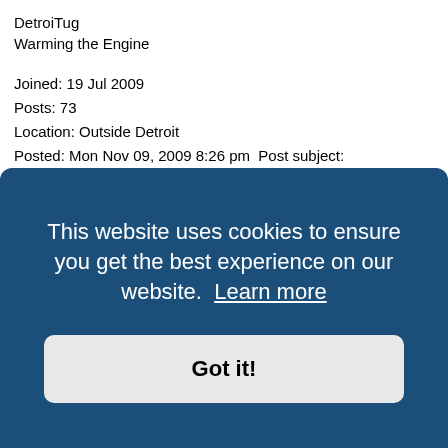DetroiTug
Warming the Engine
Joined: 19 Jul 2009
Posts: 73
Location: Outside Detroit
Posted: Mon Nov 09, 2009 8:26 pm  Post subject:
This site?
http://www.wikiupload.com/
I have a McAfee suite up to date and run malwarebytes plus Superantispyware, and I go to it, no trouble at all.
This website uses cookies to ensure you get the best experience on our website. Learn more
Got it!